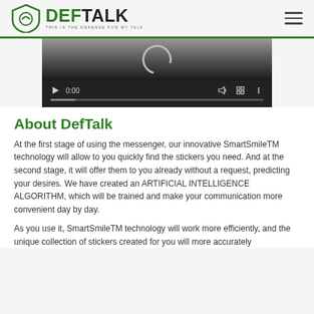DEFTALK — THIS IS THE DEFENSE FOR MY TALK
[Figure (screenshot): Video player showing 0:00 with play button, volume, fullscreen, and menu controls on a dark background]
About DefTalk
At the first stage of using the messenger, our innovative SmartSmileTM technology will allow to you quickly find the stickers you need. And at the second stage, it will offer them to you already without a request, predicting your desires. We have created an ARTIFICIAL INTELLIGENCE ALGORITHM, which will be trained and make your communication more convenient day by day.
As you use it, SmartSmileTM technology will work more efficiently, and the unique collection of stickers created for you will more accurately